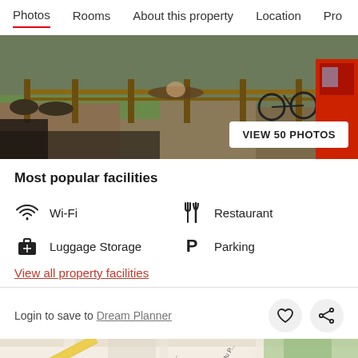Photos  Rooms  About this property  Location  Pro
[Figure (photo): Outdoor photo of a property showing bikes, hammocks, people relaxing in a park-like setting with wooden fencing and a red vehicle on the right. A white button reads VIEW 50 PHOTOS.]
Most popular facilities
Wi-Fi
Restaurant
Luggage Storage
Parking
View all property facilities
Login to save to Dream Planner
[Figure (map): Street map showing roads including Rue du P... and Chem. du P... with yellow road and green area visible.]